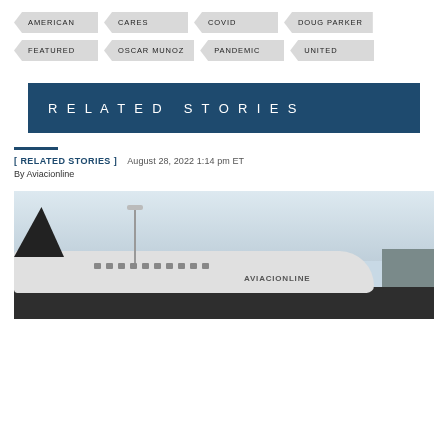AMERICAN
CARES
COVID
DOUG PARKER
FEATURED
OSCAR MUNOZ
PANDEMIC
UNITED
RELATED STORIES
[ RELATED STORIES ]  August 28, 2022 1:14 pm ET
By Aviacionline
[Figure (photo): Photograph of an aircraft on the tarmac at an airport, shown from the side with a light pole and building visible in the background.]